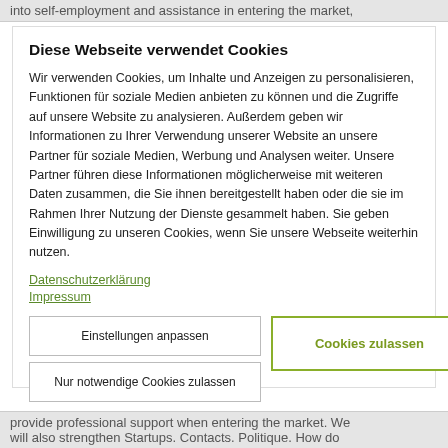into self-employment and assistance in entering the market,
Diese Webseite verwendet Cookies
Wir verwenden Cookies, um Inhalte und Anzeigen zu personalisieren, Funktionen für soziale Medien anbieten zu können und die Zugriffe auf unsere Website zu analysieren. Außerdem geben wir Informationen zu Ihrer Verwendung unserer Website an unsere Partner für soziale Medien, Werbung und Analysen weiter. Unsere Partner führen diese Informationen möglicherweise mit weiteren Daten zusammen, die Sie ihnen bereitgestellt haben oder die sie im Rahmen Ihrer Nutzung der Dienste gesammelt haben. Sie geben Einwilligung zu unseren Cookies, wenn Sie unsere Webseite weiterhin nutzen.
Datenschutzerklärung
Impressum
Einstellungen anpassen
Cookies zulassen
Nur notwendige Cookies zulassen
provide professional support when entering the market. We will also strengthen Startups. Contacts. Politique. How do